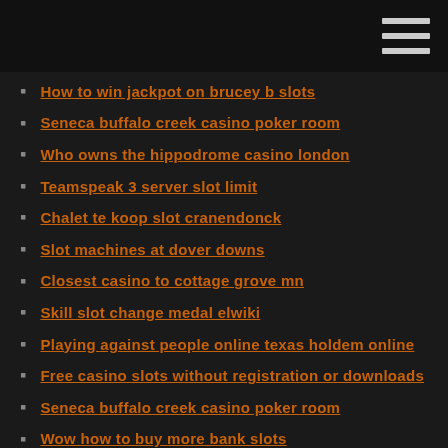How to win jackpot on brucey b slots
Seneca buffalo creek casino poker room
Who owns the hippodrome casino london
Teamspeak 3 server slot limit
Chalet te koop slot cranendonck
Slot machines at dover downs
Closest casino to cottage grove mn
Skill slot change medal elwiki
Playing against people online texas holdem online
Free casino slots without registration or downloads
Seneca buffalo creek casino poker room
Wow how to buy more bank slots
Liquor n poker discount code
Free casino games online no downloading